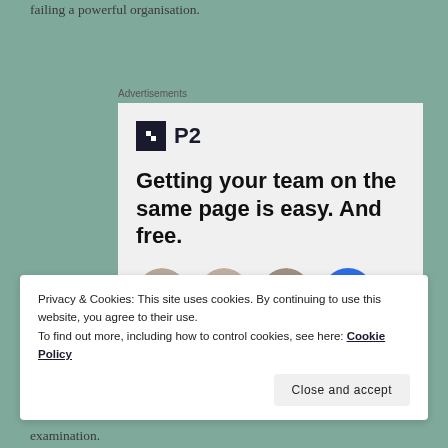failing a powerful organisation.
Advertisements
[Figure (screenshot): Advertisement for P2 tool showing logo, headline 'Getting your team on the same page is easy. And free.' and avatar row of four people]
Privacy & Cookies: This site uses cookies. By continuing to use this website, you agree to their use.
To find out more, including how to control cookies, see here: Cookie Policy
Close and accept
examination.